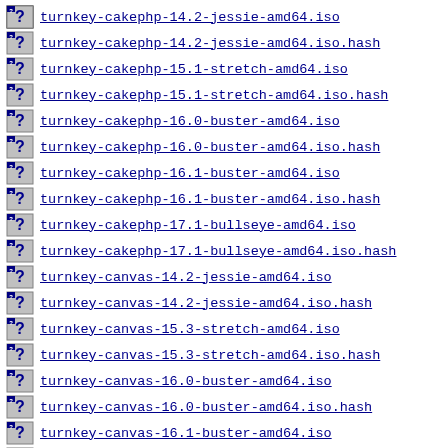turnkey-cakephp-14.2-jessie-amd64.iso
turnkey-cakephp-14.2-jessie-amd64.iso.hash
turnkey-cakephp-15.1-stretch-amd64.iso
turnkey-cakephp-15.1-stretch-amd64.iso.hash
turnkey-cakephp-16.0-buster-amd64.iso
turnkey-cakephp-16.0-buster-amd64.iso.hash
turnkey-cakephp-16.1-buster-amd64.iso
turnkey-cakephp-16.1-buster-amd64.iso.hash
turnkey-cakephp-17.1-bullseye-amd64.iso
turnkey-cakephp-17.1-bullseye-amd64.iso.hash
turnkey-canvas-14.2-jessie-amd64.iso
turnkey-canvas-14.2-jessie-amd64.iso.hash
turnkey-canvas-15.3-stretch-amd64.iso
turnkey-canvas-15.3-stretch-amd64.iso.hash
turnkey-canvas-16.0-buster-amd64.iso
turnkey-canvas-16.0-buster-amd64.iso.hash
turnkey-canvas-16.1-buster-amd64.iso
turnkey-canvas-16.1-buster-amd64.iso.hash